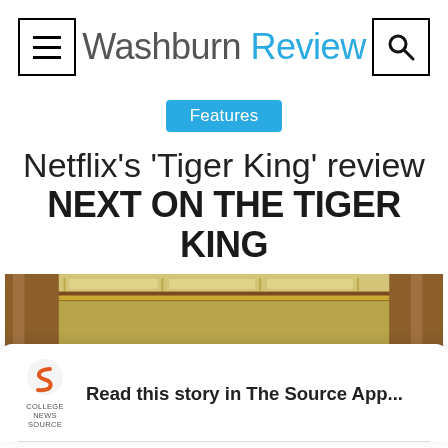Washburn Review
Features
Netflix's 'Tiger King' review
NEXT ON THE TIGER KING
[Figure (illustration): Screenshot of animated Tiger King show image with brown and yellow-green ceiling/interior scene]
Read this story in The Source App...
Open App   Continue in browser